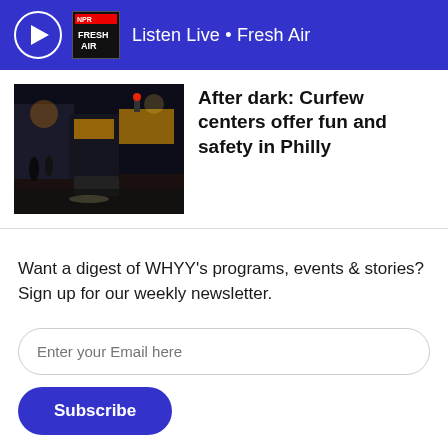Listen Live • Fresh Air
[Figure (photo): Night street scene in Philadelphia showing a dark city street with traffic lights, car headlights, and people on the sidewalk.]
After dark: Curfew centers offer fun and safety in Philly
Want a digest of WHYY's programs, events & stories? Sign up for our weekly newsletter.